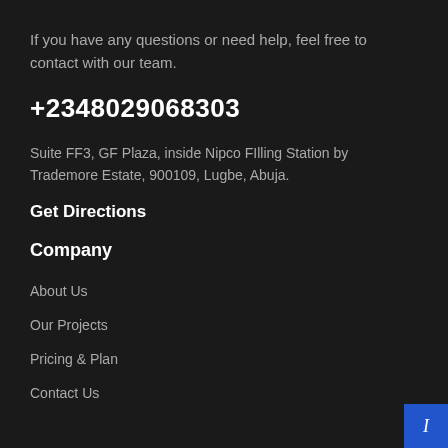If you have any questions or need help, feel free to contact with our team.
+2348029068303
Suite FF3, GF Plaza, inside Nipco FIlling Station by Trademore Estate, 900109, Lugbe, Abuja.
Get Directions
Company
About Us
Our Projects
Pricing & Plan
Contact Us